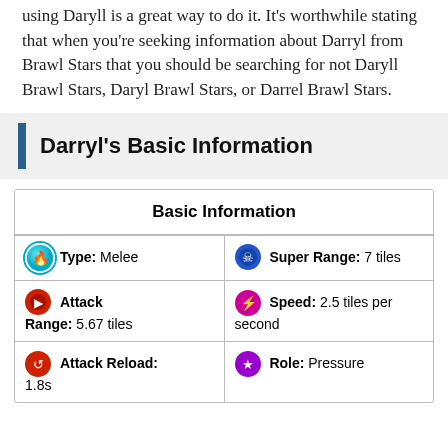using Daryll is a great way to do it. It's worthwhile stating that when you're seeking information about Darryl from Brawl Stars that you should be searching for not Daryll Brawl Stars, Daryl Brawl Stars, or Darrel Brawl Stars.
Darryl's Basic Information
| Basic Information |
| --- |
| Type: Melee | Super Range: 7 tiles |
| Attack
Range: 5.67 tiles | Speed: 2.5 tiles per second |
| Attack Reload:
1.8s | Role: Pressure |